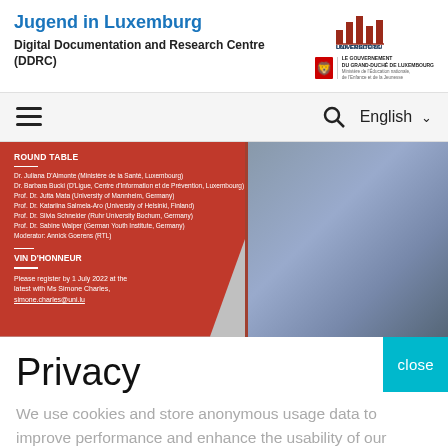Jugend in Luxemburg
Digital Documentation and Research Centre (DDRC)
[Figure (logo): University of Luxembourg logo and Luxembourg Government / Ministry of National Education logos]
[Figure (screenshot): Navigation bar with hamburger menu icon on left, search icon and English language selector on right]
[Figure (photo): Event banner with red background showing Round Table details: Dr. Juliana D'Almonte (Ministère de la Santé, Luxembourg), Dr. Barbara Bucki (D'Ligue, Centre d'Information et de Prévention, Luxembourg), Prof. Dr. Jutta Mata (University of Mannheim, Germany), Prof. Dr. Katariina Salmela-Aro (University of Helsinki, Finland), Prof. Dr. Silvia Schneider (Ruhr University Bochum, Germany), Prof. Dr. Sabine Walper (German Youth Institute, Germany), Moderator: Annick Goerens (RTL). VIN D'HONNEUR section. Please register by 1 July 2022 at the latest with Ms Simone Charles.]
Privacy
We use cookies and store anonymous usage data to improve performance and enhance the usability of our website. For more information, please read our Privacy Policy.